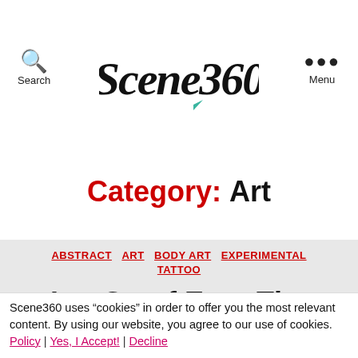Scene360 | Search | Menu
Category: Art
ABSTRACT  ART  BODY ART  EXPERIMENTAL  TATTOO
Let Go of Ego: The Holistic Tattoo Art of
Scene360 uses "cookies" in order to offer you the most relevant content. By using our website, you agree to our use of cookies. Policy | Yes, I Accept! | Decline